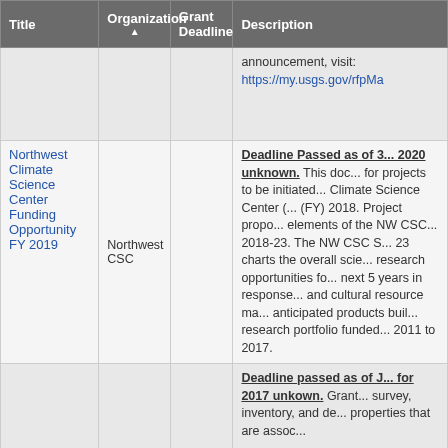| Title | Organization ▲ | Grant Deadline | Description |
| --- | --- | --- | --- |
|  |  |  | announcement, visit: https://my.usgs.gov/rfpMa |
| Northwest Climate Science Center Funding Opportunity FY 2019 | Northwest CSC |  | Deadline Passed as of 3... 2020 unknown. This doc... for projects to be initiated... Climate Science Center (... (FY) 2018. Project propo... elements of the NW CSC... 2018-23. The NW CSC S... 23 charts the overall scie... research opportunities fo... next 5 years in response... and cultural resource ma... anticipated products buil... research portfolio funded... 2011 to 2017. |
| Underrepresented... |  |  | Deadline passed as of J... for 2017 unkown. Grant... survey, inventory, and de... properties that are assoc... |